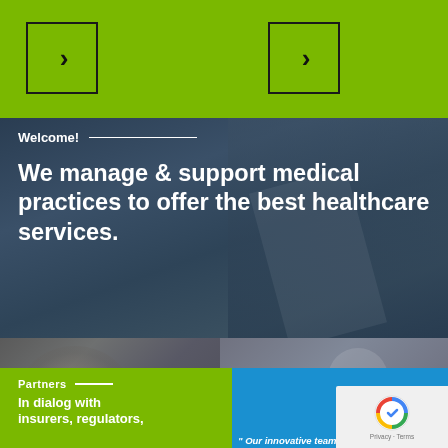[Figure (screenshot): Green navigation bar with two arrow/chevron boxes]
[Figure (photo): Dark overlay hero section showing walking legs/feet in a corridor, with welcome text and headline]
Welcome!
We manage & support medical practices to offer the best healthcare services.
[Figure (photo): Photo of older man with glasses, blurred background with another person]
Partners
In dialog with insurers, regulators,
[Figure (screenshot): Blue panel with reCAPTCHA widget and partial quote text reading Our innovative team]